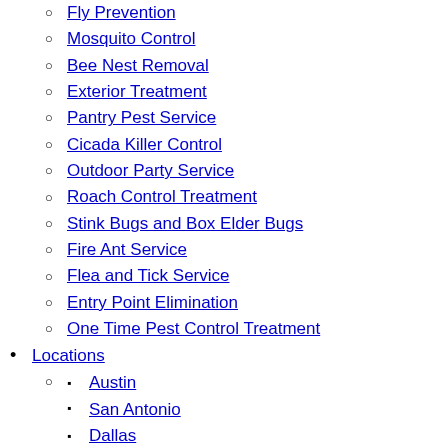Fly Prevention
Mosquito Control
Bee Nest Removal
Exterior Treatment
Pantry Pest Service
Cicada Killer Control
Outdoor Party Service
Roach Control Treatment
Stink Bugs and Box Elder Bugs
Fire Ant Service
Flea and Tick Service
Entry Point Elimination
One Time Pest Control Treatment
Locations
Austin
San Antonio
Dallas
Houston
Atlanta
College Park
Nashville
Customer Service
Ask The Expert